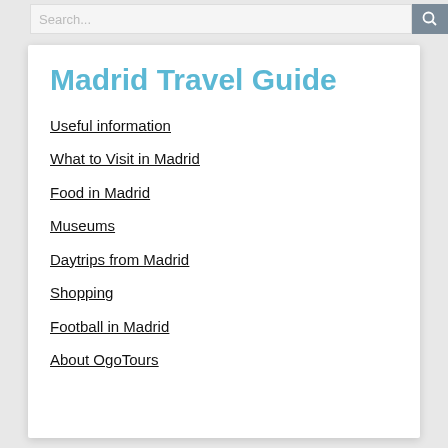Search...
Madrid Travel Guide
Useful information
What to Visit in Madrid
Food in Madrid
Museums
Daytrips from Madrid
Shopping
Football in Madrid
About OgoTours